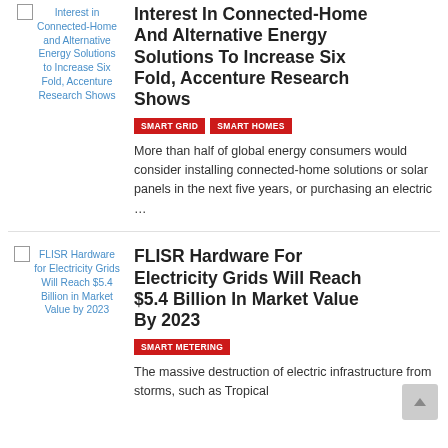[Figure (photo): Thumbnail image placeholder for article about Interest In Connected-Home And Alternative Energy Solutions]
Interest in Connected-Home and Alternative Energy Solutions to Increase Six Fold, Accenture Research Shows
Interest In Connected-Home And Alternative Energy Solutions To Increase Six Fold, Accenture Research Shows
SMART GRID   SMART HOMES
More than half of global energy consumers would consider installing connected-home solutions or solar panels in the next five years, or purchasing an electric …
[Figure (photo): Thumbnail image placeholder for FLISR Hardware for Electricity Grids article]
FLISR Hardware for Electricity Grids Will Reach $5.4 Billion in Market Value by 2023
FLISR Hardware For Electricity Grids Will Reach $5.4 Billion In Market Value By 2023
SMART METERING
The massive destruction of electric infrastructure from storms, such as Tropical…